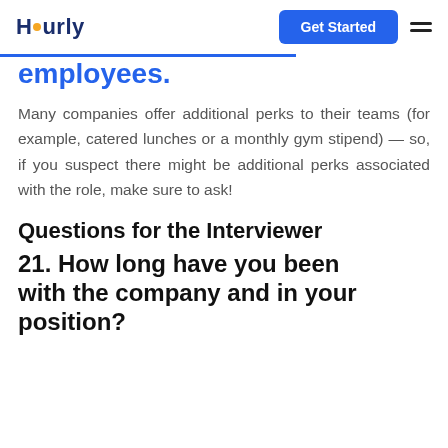Hourly  Get Started
employees.
Many companies offer additional perks to their teams (for example, catered lunches or a monthly gym stipend) — so, if you suspect there might be additional perks associated with the role, make sure to ask!
Questions for the Interviewer
21. How long have you been with the company and in your position?